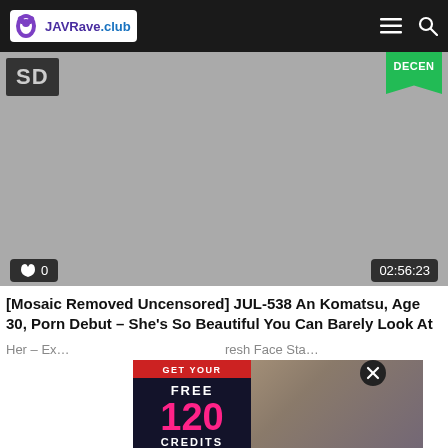JAVRave.club
[Figure (screenshot): Video thumbnail placeholder with SD badge top-left and DECEN badge top-right, like/0 bottom-left and 02:56:23 bottom-right]
[Mosaic Removed Uncensored] JUL-538 An Komatsu, Age 30, Porn Debut – She's So Beautiful You Can Barely Look At Her – Ex
Fresh Face Sta
[Figure (advertisement): Ad overlay: GET YOUR FREE 120 CREDITS with woman photo and I'LL BE WAITING! bar, close X button]